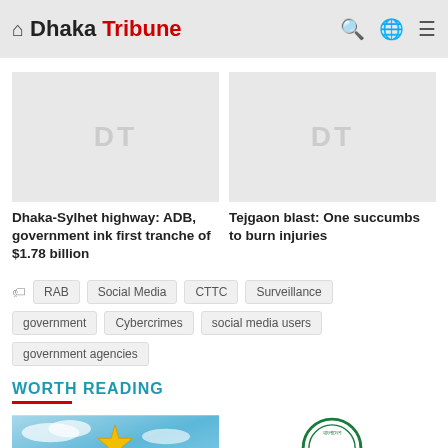Dhaka Tribune
[Figure (screenshot): Placeholder image with DT text for article 1]
Dhaka-Sylhet highway: ADB, government ink first tranche of $1.78 billion
[Figure (screenshot): Placeholder image with DT text for article 2]
Tejgaon blast: One succumbs to burn injuries
RAB
Social Media
CTTC
Surveillance
government
Cybercrimes
social media users
government agencies
WORTH READING
[Figure (photo): Blue sky image with award/star graphic]
[Figure (photo): Green circular seal/stamp of Bangladesh government]